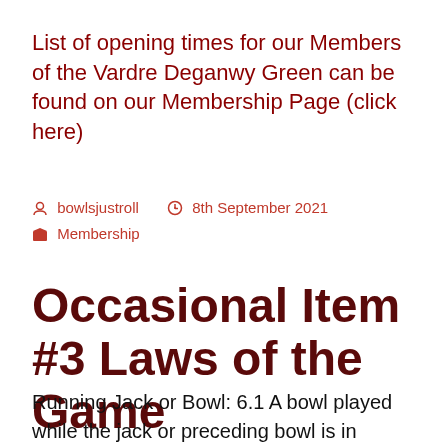List of opening times for our Members of the Vardre Deganwy Green can be found on our Membership Page (click here)
bowlsjustroll   8th September 2021   Membership
Occasional Item #3 Laws of the Game
Running Jack or Bowl: 6.1 A bowl played while the jack or preceding bowl is in motion shall be forfeited. 6.2 If a running jack or bowl appears to